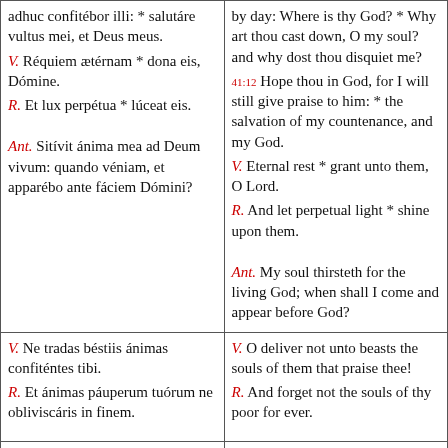adhuc confitébor illi: * salutáre vultus mei, et Deus meus.
V. Réquiem ætérnam * dona eis, Dómine.
R. Et lux perpétua * lúceat eis.

Ant. Sitívit ánima mea ad Deum vivum: quando véniam, et apparébo ante fáciem Dómini?
by day: Where is thy God? * Why art thou cast down, O my soul? and why dost thou disquiet me?
41:12 Hope thou in God, for I will still give praise to him: * the salvation of my countenance, and my God.
V. Eternal rest * grant unto them, O Lord.
R. And let perpetual light * shine upon them.

Ant. My soul thirsteth for the living God; when shall I come and appear before God?
V. Ne tradas béstiis ánimas confiténtes tibi.
R. Et ánimas páuperum tuórum ne obliviscáris in finem.
V. O deliver not unto beasts the souls of them that praise thee!
R. And forget not the souls of thy poor for ever.
Pater noster, qui es in cælis,
Our Father, who art in